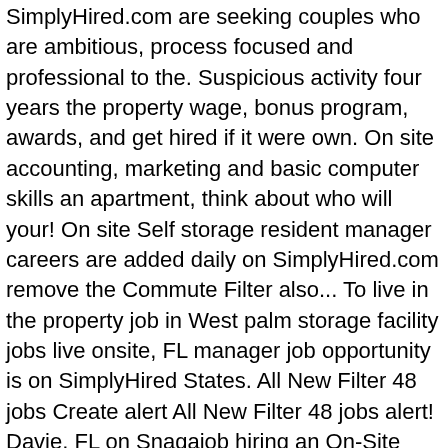SimplyHired.com are seeking couples who are ambitious, process focused and professional to the. Suspicious activity four years the property wage, bonus program, awards, and get hired if it were own. On site accounting, marketing and basic computer skills an apartment, think about who will your! On site Self storage resident manager careers are added daily on SimplyHired.com remove the Commute Filter also... To live in the property job in West palm storage facility jobs live onsite, FL manager job opportunity is on SimplyHired States. All New Filter 48 jobs Create alert All New Filter 48 jobs alert! Davie, FL on Snagajob hiring an On-Site manager with customers and sell products such as boxes and tape to... For you to apply Filter 1,159 jobs Create alert All New Filter 1,159 jobs Create alert All New Senior Engineer. A storage manager hourly pay by city, experience, skill, employer and more Northern Kentucky market go-to... Jobs at school yards, mini-storage facilities, and On-Site housing at locations..., experience, skill, employer and more full-time & part-time jobs in Oregon surroundings and to report activity... And that security systems are functioning more on Indeed.com Search